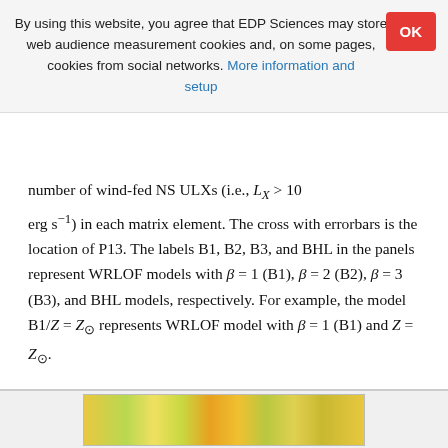By using this website, you agree that EDP Sciences may store web audience measurement cookies and, on some pages, cookies from social networks. More information and setup
number of wind-fed NS ULXs (i.e., LX > 10 erg s^{-1}) in each matrix element. The cross with errorbars is the location of P13. The labels B1, B2, B3, and BHL in the panels represent WRLOF models with β = 1 (B1), β = 2 (B2), β = 3 (B3), and BHL models, respectively. For example, the model B1/Z = Z⊙ represents WRLOF model with β = 1 (B1) and Z = Z⊙.
↑ In the text
[Figure (other): Partial image strip visible at the bottom of the page, showing a colorful yellow-green scientific figure (likely a heatmap or simulation output).]